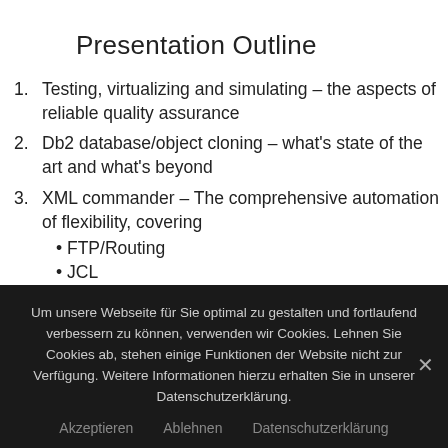Presentation Outline
Testing, virtualizing and simulating – the aspects of reliable quality assurance
Db2 database/object cloning – what's state of the art and what's beyond
XML commander – The comprehensive automation of flexibility, covering
• FTP/Routing
• JCL
Um unsere Webseite für Sie optimal zu gestalten und fortlaufend verbessern zu können, verwenden wir Cookies. Lehnen Sie Cookies ab, stehen einige Funktionen der Website nicht zur Verfügung. Weitere Informationen hierzu erhalten Sie in unserer Datenschutzerklärung.
Akzeptieren   Ablehnen   Datenschutzerklärung